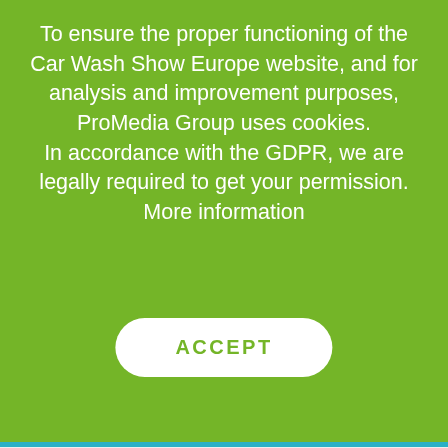To ensure the proper functioning of the Car Wash Show Europe website, and for analysis and improvement purposes, ProMedia Group uses cookies.
In accordance with the GDPR, we are legally required to get your permission. More information
[Figure (other): White rounded ACCEPT button on green background]
[Figure (other): Blurred/obscured website content below the cookie consent banner, showing grey blurred text lines on white/light grey background]